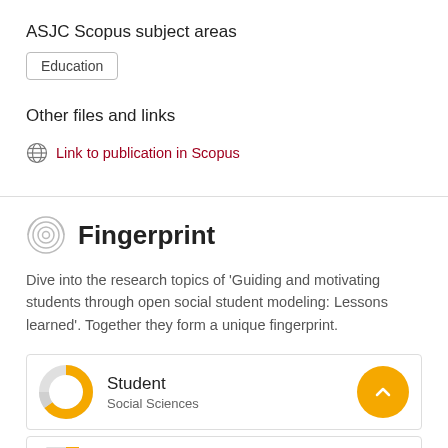ASJC Scopus subject areas
Education
Other files and links
Link to publication in Scopus
Fingerprint
Dive into the research topics of 'Guiding and motivating students through open social student modeling: Lessons learned'. Together they form a unique fingerprint.
Student
Social Sciences
Visualization